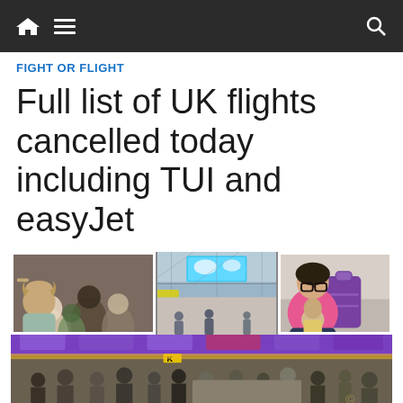Navigation bar with home, menu, and search icons
FIGHT OR FLIGHT
Full list of UK flights cancelled today including TUI and easyJet
[Figure (photo): Collage of airport scenes: crowds at check-in, terminal interior with large digital display, woman in pink sitting on floor with child, large crowd in busy airport terminal with easyJet signage]